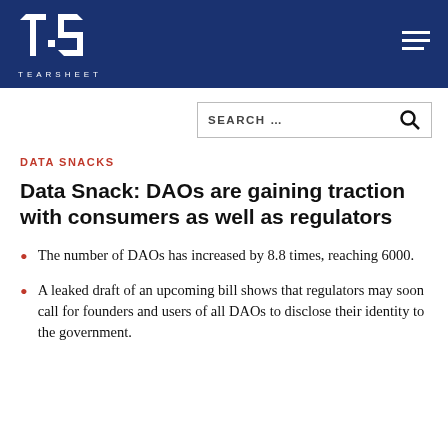TEARSHEET
DATA SNACKS
Data Snack: DAOs are gaining traction with consumers as well as regulators
The number of DAOs has increased by 8.8 times, reaching 6000.
A leaked draft of an upcoming bill shows that regulators may soon call for founders and users of all DAOs to disclose their identity to the government.